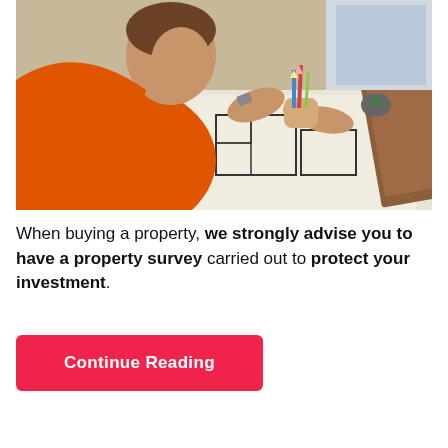[Figure (photo): Person wearing an orange safety vest and checked shirt, leaning over architectural blueprints/floor plans on a table, holding pencils and examining the plans. Pencils in a holder visible on the table.]
When buying a property, we strongly advise you to have a property survey carried out to protect your investment.
Continue Reading